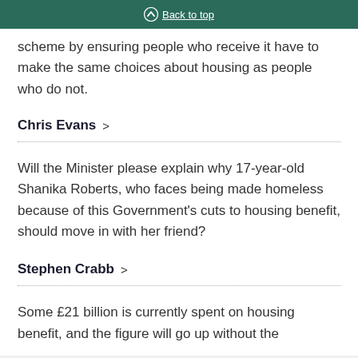Back to top
scheme by ensuring people who receive it have to make the same choices about housing as people who do not.
Chris Evans
Will the Minister please explain why 17-year-old Shanika Roberts, who faces being made homeless because of this Government’s cuts to housing benefit, should move in with her friend?
Stephen Crabb
Some £21 billion is currently spent on housing benefit, and the figure will go up without the